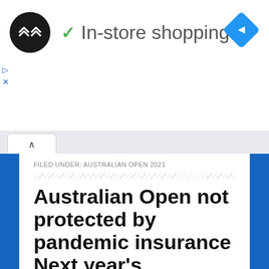[Figure (screenshot): Ad banner with logo circle containing double-arrow icon, checkmark and 'In-store shopping' text, and blue navigation diamond icon on right]
FILED UNDER: AUSTRALIAN OPEN 2021
Australian Open not protected by pandemic insurance Next year's
JULY 2, 2020 BY TYLER DANA
LEAVE A COMMENT
Tennis Australia won't be able to draw on pandemic